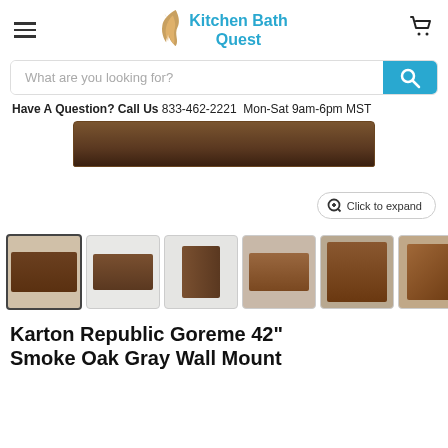Kitchen Bath Quest
What are you looking for?
Have A Question? Call Us  833-462-2221  Mon-Sat 9am-6pm MST
[Figure (photo): Main product image showing the bottom edge of Karton Republic Goreme 42 Smoke Oak Gray Wall Mount vanity — a dark walnut-colored horizontal cabinet]
Click to expand
[Figure (photo): Row of 6 product thumbnail images of the Karton Republic Goreme 42 Smoke Oak Gray Wall Mount vanity from different angles]
Karton Republic Goreme 42" Smoke Oak Gray Wall Mount